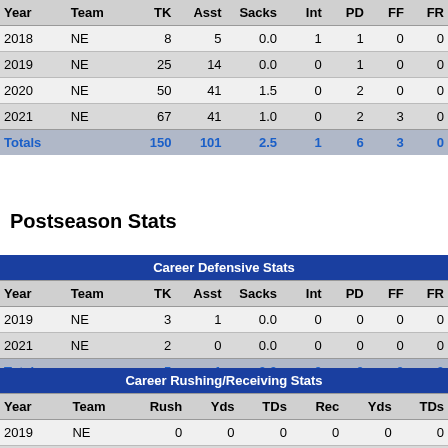| Year | Team | TK | Asst | Sacks | Int | PD | FF | FR |
| --- | --- | --- | --- | --- | --- | --- | --- | --- |
| 2018 | NE | 8 | 5 | 0.0 | 1 | 1 | 0 | 0 |
| 2019 | NE | 25 | 14 | 0.0 | 0 | 1 | 0 | 0 |
| 2020 | NE | 50 | 41 | 1.5 | 0 | 2 | 0 | 0 |
| 2021 | NE | 67 | 41 | 1.0 | 0 | 2 | 3 | 0 |
| Totals |  | 150 | 101 | 2.5 | 1 | 6 | 3 | 0 |
Postseason Stats
| Year | Team | TK | Asst | Sacks | Int | PD | FF | FR |
| --- | --- | --- | --- | --- | --- | --- | --- | --- |
| 2019 | NE | 3 | 1 | 0.0 | 0 | 0 | 0 | 0 |
| 2021 | NE | 2 | 0 | 0.0 | 0 | 0 | 0 | 0 |
| Totals |  | 5 | 1 | 0.0 | 0 | 0 | 0 | 0 |
| Year | Team | Rush | Yds | TDs | Rec | Yds | TDs |
| --- | --- | --- | --- | --- | --- | --- | --- |
| 2019 | NE | 0 | 0 | 0 | 0 | 0 | 0 |
| 2021 | NE | 0 | 0 | 0 | 0 | 0 | 0 |